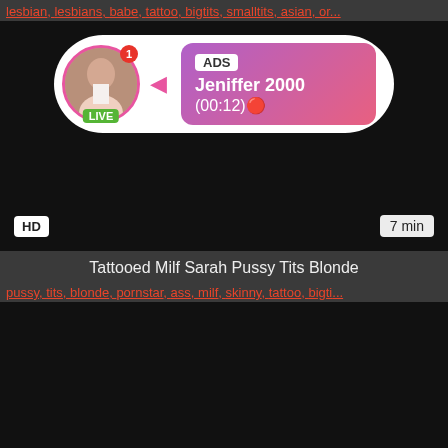lesbian, lesbians, babe, tattoo, bigtits, smalltits, asian, or...
[Figure (screenshot): Video thumbnail (black) with overlaid ad bubble showing avatar with LIVE badge, ADS label, name Jeniffer 2000, time (00:12), HD badge and 7 min duration]
Tattooed Milf Sarah Pussy Tits Blonde
pussy, tits, blonde, pornstar, ass, milf, skinny, tattoo, bigti...
[Figure (screenshot): Second video thumbnail (black)]